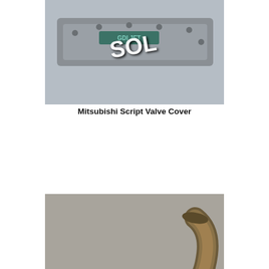[Figure (photo): Photo of a Mitsubishi Script Valve Cover with a 'SOLD!' watermark overlay. The part is a grey valve cover with script lettering, shown on a light grey background.]
Mitsubishi Script Valve Cover
[Figure (photo): Photo of a Downpipe with Wideband bung, an exhaust pipe with a curved S-shape, metallic bronze/dark finish, with a wire attached and a 'SOLD!' watermark overlay. Background is grey concrete.]
Downpipe w/ Wideband
[Figure (photo): Partial photo of a third automotive part, partially visible at the bottom of the page, appears to be another engine/exhaust component on a grey background.]